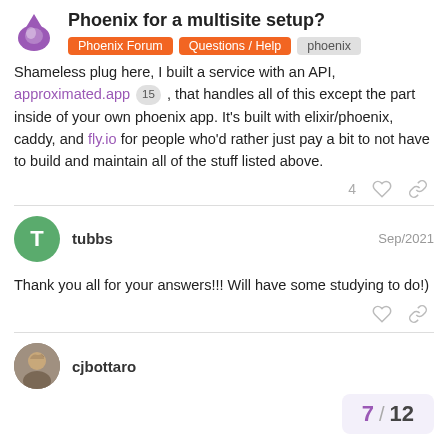Phoenix for a multisite setup? | Phoenix Forum | Questions / Help | phoenix
Shameless plug here, I built a service with an API, approximated.app 15 , that handles all of this except the part inside of your own phoenix app. It's built with elixir/phoenix, caddy, and fly.io for people who'd rather just pay a bit to not have to build and maintain all of the stuff listed above.
4 [like] [link]
tubbs Sep/2021
Thank you all for your answers!!! Will have some studying to do!)
[like] [link]
cjbottaro
7 / 12